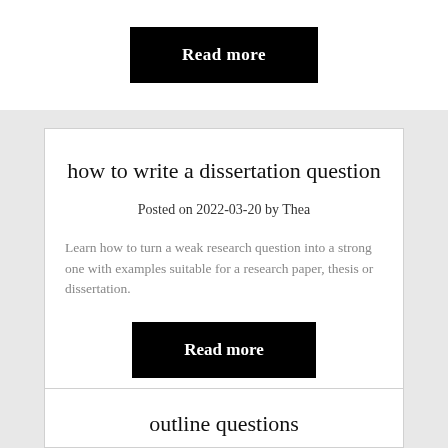Read more
how to write a dissertation question
Posted on 2022-03-20 by Thea
Learn how to turn a weak research question into a strong one with examples suitable for a research paper, thesis or dissertation.
Read more
outline questions